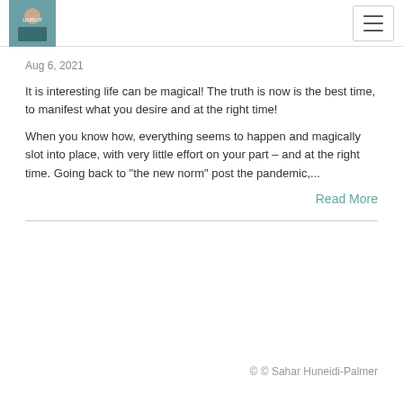UNBOX [logo] — hamburger menu
Aug 6, 2021
It is interesting life can be magical! The truth is now is the best time, to manifest what you desire and at the right time!
When you know how, everything seems to happen and magically slot into place, with very little effort on your part – and at the right time. Going back to "the new norm" post the pandemic,...
Read More
© © Sahar Huneidi-Palmer